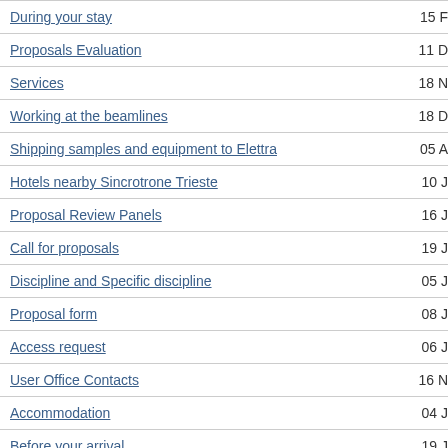During your stay | 15 F
Proposals Evaluation | 11 D
Services | 18 N
Working at the beamlines | 18 D
Shipping samples and equipment to Elettra | 05 A
Hotels nearby Sincrotrone Trieste | 10 J
Proposal Review Panels | 16 J
Call for proposals | 19 J
Discipline and Specific discipline | 05 J
Proposal form | 08 J
Access request | 06 J
User Office Contacts | 16 N
Accommodation | 04 J
Before your arrival | 19 J
Auto a noleggio | 22 N